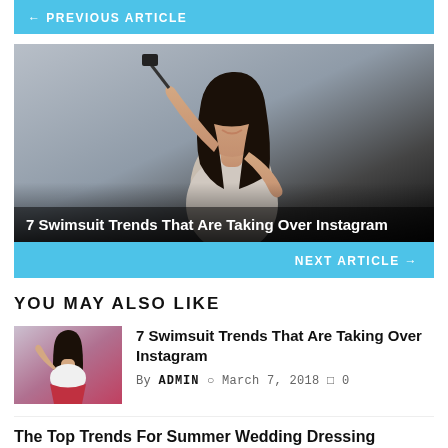← PREVIOUS ARTICLE
[Figure (photo): Young Asian woman smiling, holding a selfie stick, wearing a light gray top, posed against a gray background. Image serves as article thumbnail for '7 Swimsuit Trends That Are Taking Over Instagram'.]
7 Swimsuit Trends That Are Taking Over Instagram
NEXT ARTICLE →
YOU MAY ALSO LIKE
[Figure (photo): Small thumbnail of young woman in white top and red skirt, posed playfully.]
7 Swimsuit Trends That Are Taking Over Instagram
By ADMIN  ⊙  March 7, 2018  □ 0
The Top Trends For Summer Wedding Dressing